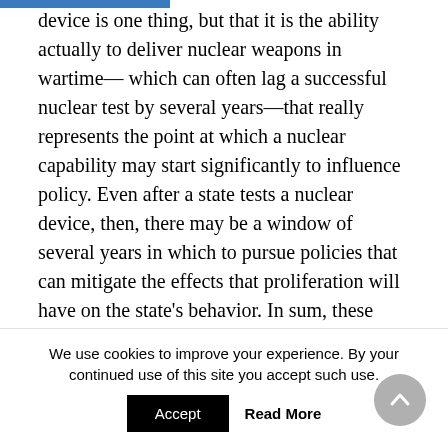device is one thing, but that it is the ability actually to deliver nuclear weapons in wartime—which can often lag a successful nuclear test by several years—that really represents the point at which a nuclear capability may start significantly to influence policy. Even after a state tests a nuclear device, then, there may be a window of several years in which to pursue policies that can mitigate the effects that proliferation will have on the state's behavior. In sum, these articles illustrate that we need a nuanced view of what 'proliferation' actually means.
Fifth and finally, all of these pieces are valuable
We use cookies to improve your experience. By your continued use of this site you accept such use.